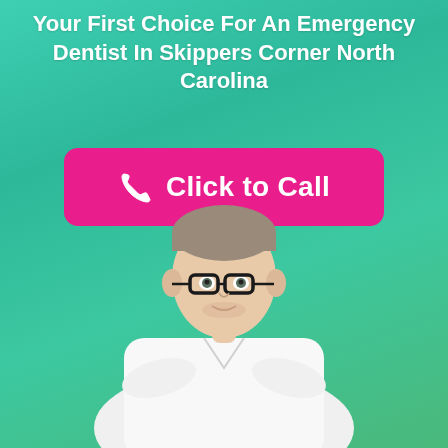Your First Choice For An Emergency Dentist In Skippers Corner North Carolina
[Figure (illustration): Pink 'Click to Call' button with phone icon on a teal/green gradient background]
[Figure (photo): A male dentist/doctor in a white coat with black-rimmed glasses, standing with arms crossed, against a teal gradient background]